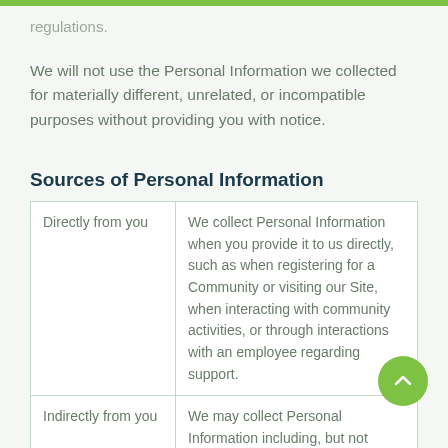regulations.
We will not use the Personal Information we collected for materially different, unrelated, or incompatible purposes without providing you with notice.
Sources of Personal Information
| Directly from you | We collect Personal Information when you provide it to us directly, such as when registering for a Community or visiting our Site, when interacting with community activities, or through interactions with an employee regarding support. |
| Indirectly from you | We may collect Personal Information including, but not limited to geolocation (when using mobile applications), IP |